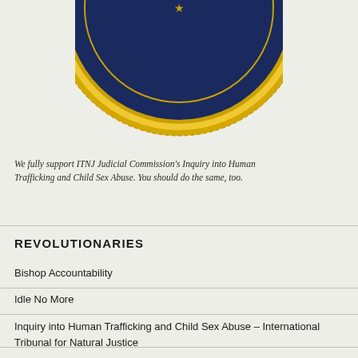[Figure (logo): Official seal/emblem of the International Tribunal for Natural Justice (ITNJ), circular gold and navy blue seal with text around border, partially cropped at top of page]
We fully support ITNJ Judicial Commission's Inquiry into Human Trafficking and Child Sex Abuse. You should do the same, too.
REVOLUTIONARIES
Bishop Accountability
Idle No More
Inquiry into Human Trafficking and Child Sex Abuse – International Tribunal for Natural Justice